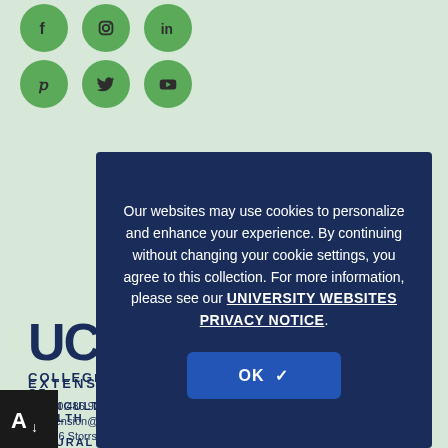[Figure (illustration): Six green circular social media icon buttons in two rows: Facebook, Instagram, LinkedIn (top row), Pinterest, Twitter, YouTube (bottom row)]
[Figure (logo): UConn College of Agriculture, Health and Natural Resources Extension logo]
EXTENSION
860.486.9228
extension@uconnn.edu
1376 Storrs Road, Unit 4134
Our websites may use cookies to personalize and enhance your experience. By continuing without changing your cookie settings, you agree to this collection. For more information, please see our UNIVERSITY WEBSITES PRIVACY NOTICE.
OK